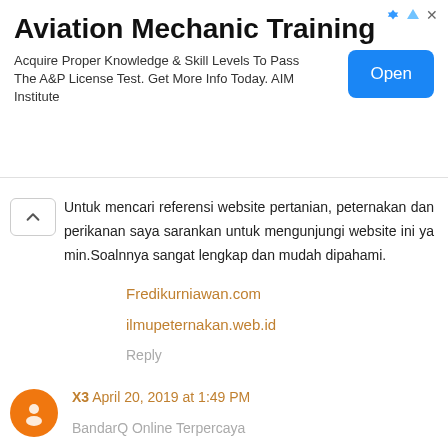[Figure (other): Advertisement banner for Aviation Mechanic Training by AIM Institute with Open button]
Untuk mencari referensi website pertanian, peternakan dan perikanan saya sarankan untuk mengunjungi website ini ya min.Soalnnya sangat lengkap dan mudah dipahami.
Fredikurniawan.com
ilmupeternakan.web.id
Reply
X3  April 20, 2019 at 1:49 PM
BandarQ Online Terpercaya
DominoQQ Online Terbaik
Kumpulan Cerita Dewasa
Skandal Foto Bugil